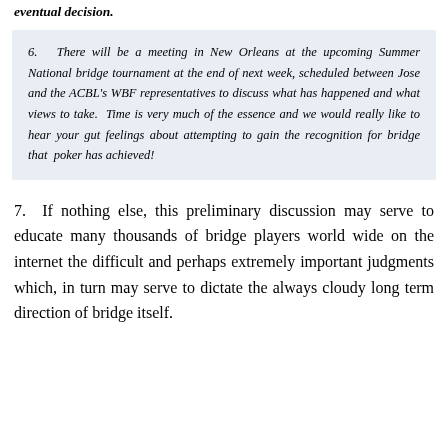eventual decision.
6.   There will be a meeting in New Orleans at the upcoming Summer National bridge tournament at the end of next week, scheduled between Jose and the ACBL's WBF representatives to discuss what has happened and what views to take.  Time is very much of the essence and we would really like to hear your gut feelings about attempting to gain the recognition for bridge that  poker has achieved!
7.  If nothing else, this preliminary discussion may serve to educate many thousands of bridge players world wide on the internet the difficult and perhaps extremely important judgments which, in turn may serve to dictate the always cloudy long term direction of bridge itself.